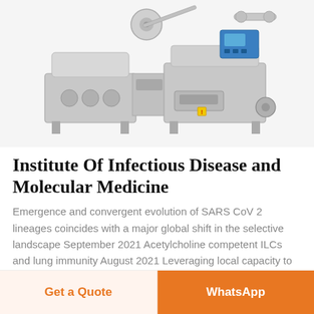[Figure (photo): Industrial pharmaceutical packaging/blister machine, silver/stainless steel, with blue control panel on right side]
Institute Of Infectious Disease and Molecular Medicine
Emergence and convergent evolution of SARS CoV 2 lineages coincides with a major global shift in the selective landscape September 2021 Acetylcholine competent ILCs and lung immunity August 2021 Leveraging local capacity to study
Get a Quote  WhatsApp